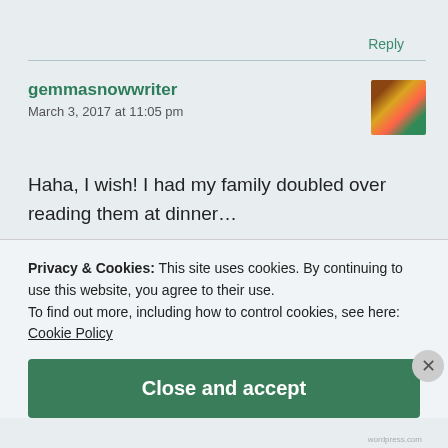Reply
gemmasnowwriter
March 3, 2017 at 11:05 pm
Haha, I wish! I had my family doubled over reading them at dinner…
Privacy & Cookies: This site uses cookies. By continuing to use this website, you agree to their use.
To find out more, including how to control cookies, see here:
Cookie Policy
Close and accept